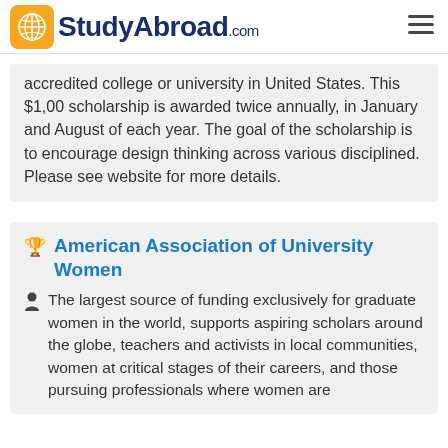StudyAbroad.com
accredited college or university in United States. This $1,00 scholarship is awarded twice annually, in January and August of each year. The goal of the scholarship is to encourage design thinking across various disciplined. Please see website for more details.
American Association of University Women
The largest source of funding exclusively for graduate women in the world, supports aspiring scholars around the globe, teachers and activists in local communities, women at critical stages of their careers, and those pursuing professionals where women are